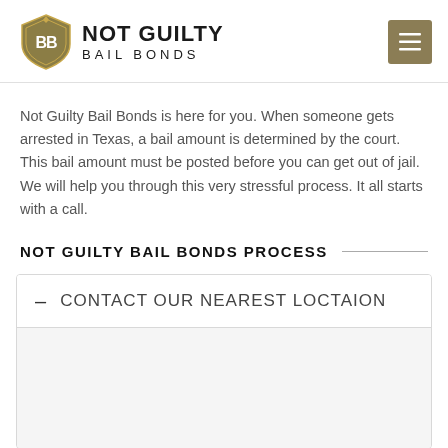NOT GUILTY BAIL BONDS
Not Guilty Bail Bonds is here for you. When someone gets arrested in Texas, a bail amount is determined by the court. This bail amount must be posted before you can get out of jail. We will help you through this very stressful process. It all starts with a call.
NOT GUILTY BAIL BONDS PROCESS
CONTACT OUR NEAREST LOCTAION